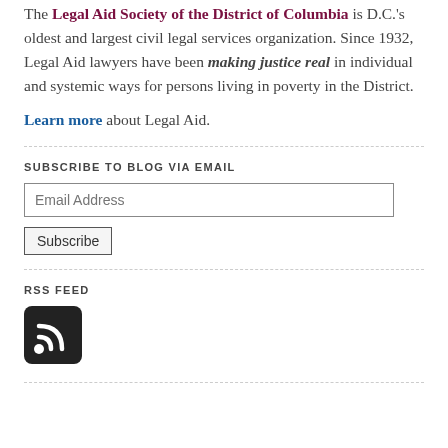The Legal Aid Society of the District of Columbia is D.C.'s oldest and largest civil legal services organization. Since 1932, Legal Aid lawyers have been making justice real in individual and systemic ways for persons living in poverty in the District.
Learn more about Legal Aid.
SUBSCRIBE TO BLOG VIA EMAIL
RSS FEED
[Figure (logo): RSS feed icon — black rounded square with white RSS signal symbol]